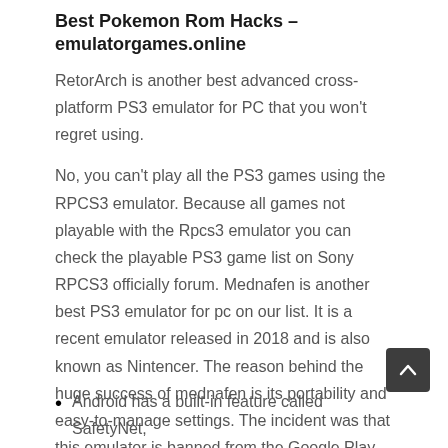Best Pokemon Rom Hacks – emulatorgames.online
RetorArch is another best advanced cross-platform PS3 emulator for PC that you won't regret using.
No, you can't play all the PS3 games using the RPCS3 emulator. Because all games not playable with the Rpcs3 emulator you can check the playable PS3 game list on Sony RPCS3 officially forum. Mednafen is another best PS3 emulator for pc on our list. It is a recent emulator released in 2018 and is also known as Nintencer. The reason behind the huge success of mednafen is its portability and easy-to-manage settings. The incident was that this emulator is banned from the Google Play store for minor policy violations.
Android has a built-in feature called SafetyNet,